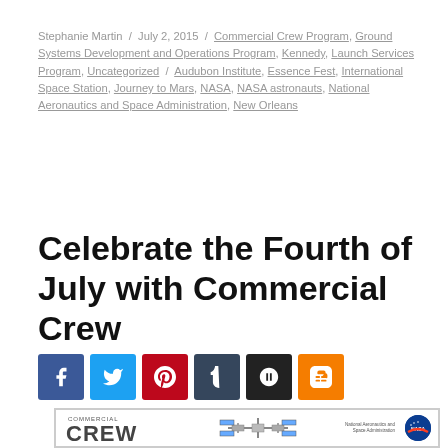Stephanie Martin / July 2, 2015 / Commercial Crew Program, Ground Systems Development and Operations Program, Kennedy, Launch Services Program, Uncategorized / Audubon Institute, Essence Fest, International Space Station, Journey to Mars, NASA, NASA astronauts, National Aeronautics and Space Administration, New Orleans
Celebrate the Fourth of July with Commercial Crew
[Figure (infographic): Social share buttons: Facebook (blue), Twitter (light blue), Pinterest (red), Tumblr (dark blue), Print/fist (black), Blogger (orange)]
[Figure (infographic): NASA Commercial Crew banner image with Commercial Crew logo on the left, International Space Station in the center, and NASA meatball logo on the right with 'National Aeronautics and Space Administration' text]